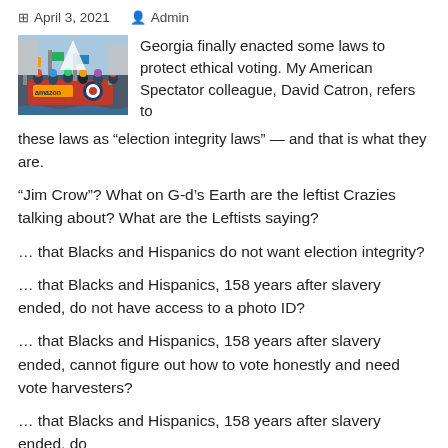April 3, 2021   Admin
[Figure (photo): Outdoor parade or festival scene with people, flags, and Amazon-branded float or vehicle]
Georgia finally enacted some laws to protect ethical voting. My American Spectator colleague, David Catron, refers to these laws as “election integrity laws” — and that is what they are.
“Jim Crow”? What on G-d’s Earth are the leftist Crazies talking about? What are the Leftists saying?
… that Blacks and Hispanics do not want election integrity?
… that Blacks and Hispanics, 158 years after slavery ended, do not have access to a photo ID?
… that Blacks and Hispanics, 158 years after slavery ended, cannot figure out how to vote honestly and need vote harvesters?
… that Blacks and Hispanics, 158 years after slavery ended, do